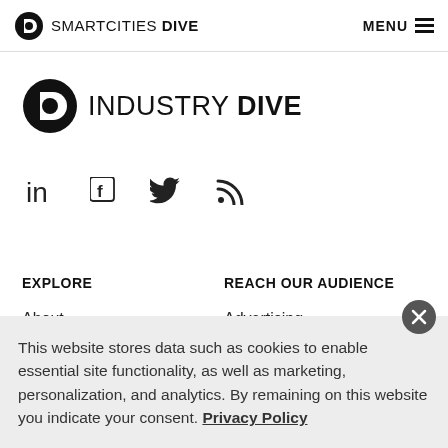SMARTCITIES DIVE  MENU
[Figure (logo): Industry Dive logo with circular D icon and text INDUSTRY DIVE]
[Figure (infographic): Social media icons: LinkedIn, Facebook, Twitter, RSS feed]
EXPLORE
REACH OUR AUDIENCE
About
Advertising
This website stores data such as cookies to enable essential site functionality, as well as marketing, personalization, and analytics. By remaining on this website you indicate your consent. Privacy Policy